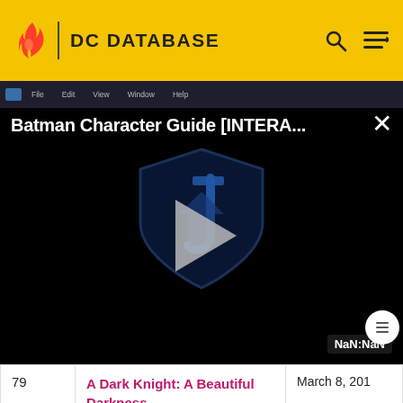DC DATABASE
[Figure (screenshot): Video player overlay showing 'Batman Character Guide [INTERA...' with a play button, dark background with DC/Justice League shield logo watermark, close button (×), and NaN:NaN timestamp badge. Chrome browser window bar visible at top.]
| # | Title | Date |
| --- | --- | --- |
| 79 | A Dark Knight: A Beautiful Darkness | March 8, 201 |
| 80 | A Dark Knight: Reunion | March 15, 2018 |
| 81 | A Dark Knight: The Siring Chi... | March 22... |